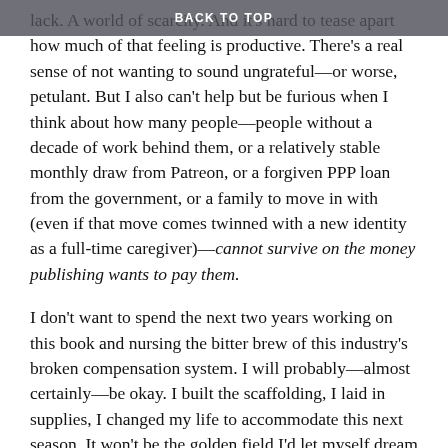BACK TO TOP
lack. A world of scarcity. And it’s hard to tease apart how much of that feeling is productive. There’s a real sense of not wanting to sound ungrateful—or worse, petulant. But I also can’t help but be furious when I think about how many people—people without a decade of work behind them, or a relatively stable monthly draw from Patreon, or a forgiven PPP loan from the government, or a family to move in with (even if that move comes twinned with a new identity as a full-time caregiver)—cannot survive on the money publishing wants to pay them.
I don’t want to spend the next two years working on this book and nursing the bitter brew of this industry’s broken compensation system. I will probably—almost certainly—be okay. I built the scaffolding, I laid in supplies, I changed my life to accommodate this next season. It won’t be the golden field I’d let myself dream it might be, but I’ll do fine. The book might even sell enough to turn a profit down the line. But! But.